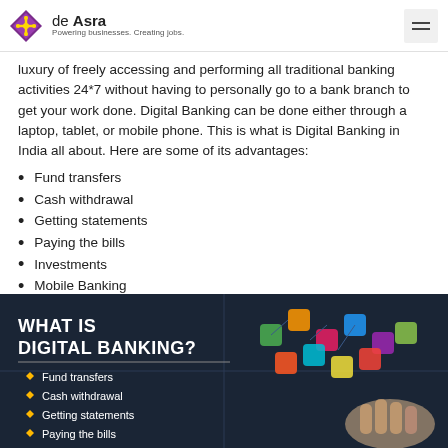de Asra — Powering businesses. Creating jobs.
luxury of freely accessing and performing all traditional banking activities 24*7 without having to personally go to a bank branch to get your work done. Digital Banking can be done either through a laptop, tablet, or mobile phone. This is what is Digital Banking in India all about. Here are some of its advantages:
Fund transfers
Cash withdrawal
Getting statements
Paying the bills
Investments
Mobile Banking
Keeping track of transactions
[Figure (infographic): Dark-themed infographic titled 'WHAT IS DIGITAL BANKING?' listing: Fund transfers, Cash withdrawal, Getting statements, Paying the bills — with golden diamond bullet points, and a background image of colorful app icons on a circuit board with a hand touching it.]